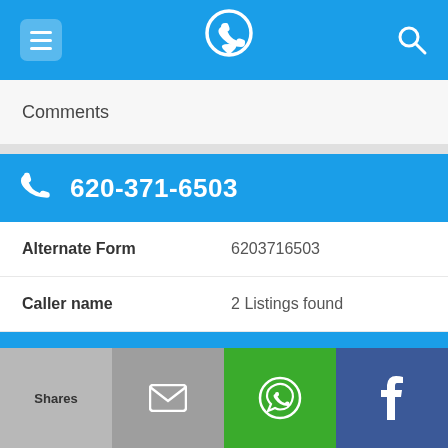[Figure (screenshot): Top navigation bar with hamburger menu, phone/location logo, and search icon on blue background]
Comments
620-371-6503
| Alternate Form | 6203716503 |
| Caller name | 2 Listings found |
| Last User Search | No searches yet |
| Comments |  |
Shares